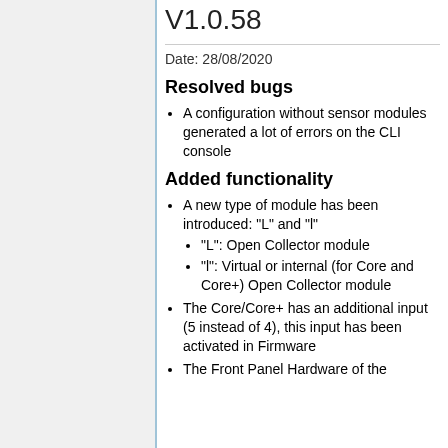V1.0.58
Date: 28/08/2020
Resolved bugs
A configuration without sensor modules generated a lot of errors on the CLI console
Added functionality
A new type of module has been introduced: "L" and "l"
"L": Open Collector module
"l": Virtual or internal (for Core and Core+) Open Collector module
The Core/Core+ has an additional input (5 instead of 4), this input has been activated in Firmware
The Front Panel Hardware of the